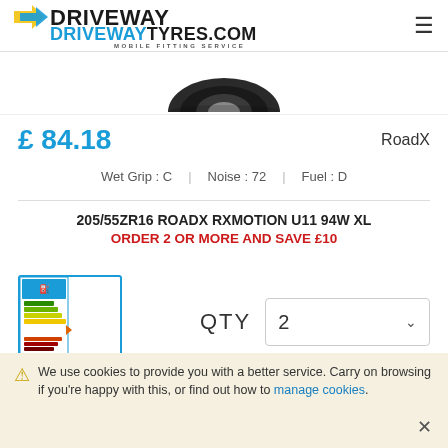DRIVEWAYTYRES.COM MOBILE FITTING SERVICE
[Figure (photo): Partial view of a black tyre, cropped at the top]
£ 84.18    RoadX
Wet Grip : C  |  Noise : 72  |  Fuel : D
205/55ZR16 ROADX RXMOTION U11 94W XL
ORDER 2 OR MORE AND SAVE £10
[Figure (infographic): EU tyre energy label showing Fuel efficiency D and Wet grip C ratings with color bar scale]
QTY   2
⚠ We use cookies to provide you with a better service. Carry on browsing if you're happy with this, or find out how to manage cookies.